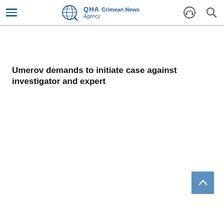QHA Crimean News Agency
Umerov demands to initiate case against investigator and expert